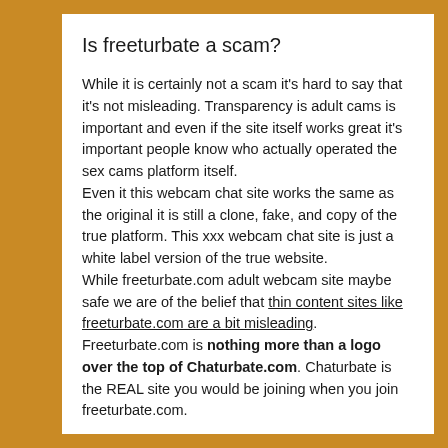Is freeturbate a scam?
While it is certainly not a scam it's hard to say that it's not misleading. Transparency is adult cams is important and even if the site itself works great it's important people know who actually operated the sex cams platform itself.
Even it this webcam chat site works the same as the original it is still a clone, fake, and copy of the true platform. This xxx webcam chat site is just a white label version of the true website.
While freeturbate.com adult webcam site maybe safe we are of the belief that thin content sites like freeturbate.com are a bit misleading.
Freeturbate.com is nothing more than a logo over the top of Chaturbate.com. Chaturbate is the REAL site you would be joining when you join freeturbate.com.